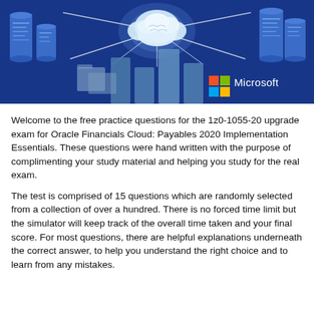[Figure (illustration): Dark blue banner illustration showing database cylinders on left and right, a glowing brain/cloud in the center top emitting light rays, bar chart shapes at the bottom center, and the Microsoft logo with colorful squares in the bottom right.]
Welcome to the free practice questions for the 1z0-1055-20 upgrade exam for Oracle Financials Cloud: Payables 2020 Implementation Essentials. These questions were hand written with the purpose of complimenting your study material and helping you study for the real exam.
The test is comprised of 15 questions which are randomly selected from a collection of over a hundred. There is no forced time limit but the simulator will keep track of the overall time taken and your final score. For most questions, there are helpful explanations underneath the correct answer, to help you understand the right choice and to learn from any mistakes.